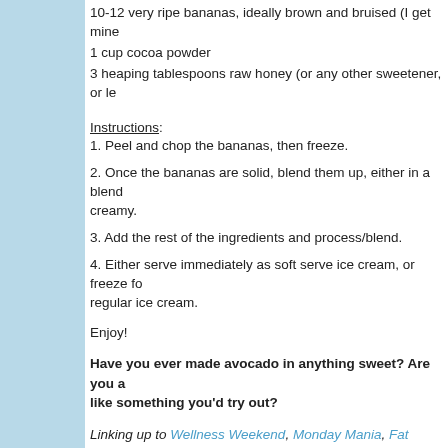10-12 very ripe bananas, ideally brown and bruised (I get mine
1 cup cocoa powder
3 heaping tablespoons raw honey (or any other sweetener, or le
Instructions:
1. Peel and chop the bananas, then freeze.
2. Once the bananas are solid, blend them up, either in a blender creamy.
3. Add the rest of the ingredients and process/blend.
4. Either serve immediately as soft serve ice cream, or freeze fo regular ice cream.
Enjoy!
Have you ever made avocado in anything sweet? Are you a like something you'd try out?
Linking up to Wellness Weekend, Monday Mania, Fat Tuesday, Hop, Simply Sugar and Gluten Free, Freaky Friday, Fresh Bites